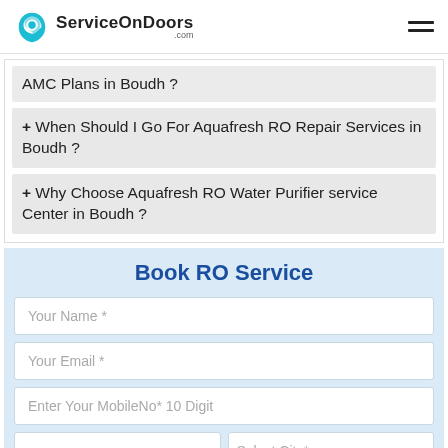[Figure (logo): ServiceOnDoors.com logo with teal circular icon and bold text]
AMC Plans in Boudh ?
+ When Should I Go For Aquafresh RO Repair Services in Boudh ?
+ Why Choose Aquafresh RO Water Purifier service Center in Boudh ?
Book RO Service
Your Name *
Your Email *
Enter Your MobileNo* 10 Digit
Select City*